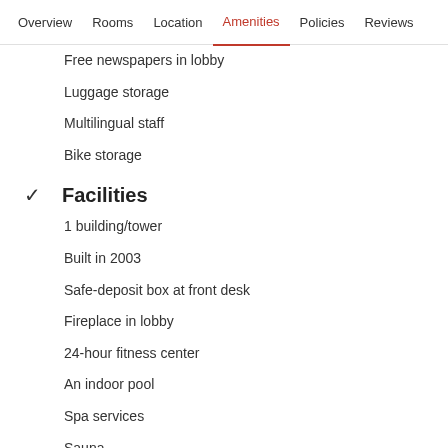Overview  Rooms  Location  Amenities  Policies  Reviews
Free newspapers in lobby
Luggage storage
Multilingual staff
Bike storage
Facilities
1 building/tower
Built in 2003
Safe-deposit box at front desk
Fireplace in lobby
24-hour fitness center
An indoor pool
Spa services
Sauna
Steam room
Wine tasting room